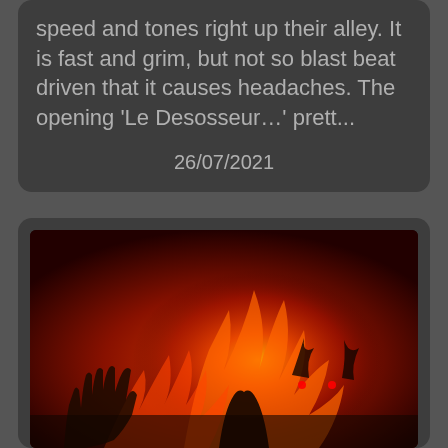speed and tones right up their alley. It is fast and grim, but not so blast beat driven that it causes headaches. The opening 'Le Desosseur…' prett...
26/07/2021
[Figure (illustration): Album cover for Gorethrone. Dark death metal artwork featuring the band name 'GORETHRONE' in orange jagged lettering at the top, with a hellish red and orange flame scene below showing dark demonic figures including a hand reaching up on the left and a horned demon figure in the center-right.]